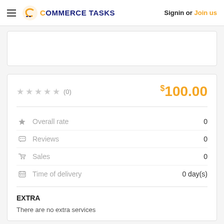Commerce Tasks — Signin or Join us
★★★★★ (0)   $100.00
Overall rate   0
Reviews   0
Sales   0
Time of delivery   0 day(s)
EXTRA
There are no extra services